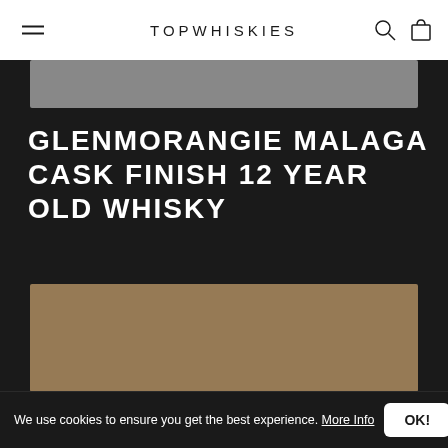TOPWHISKIES
[Figure (photo): Gray placeholder image strip below navigation header]
GLENMORANGIE MALAGA CASK FINISH 12 YEAR OLD WHISKY
[Figure (photo): Brown/tan colored placeholder image of the whisky product]
We use cookies to ensure you get the best experience. More Info OK!